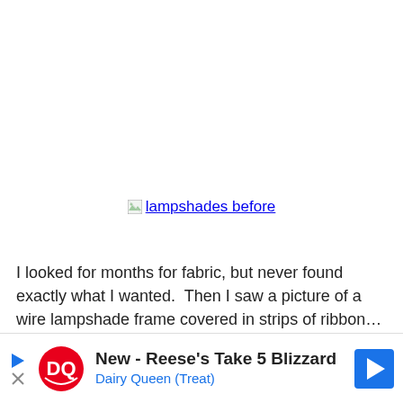[Figure (other): Broken image link showing 'lampshades before' as hyperlink text with broken image icon]
I looked for months for fabric, but never found exactly what I wanted.  Then I saw a picture of a wire lampshade frame covered in strips of ribbon…LOVED it!  Until I went to Hobby Lobby and looked at the price of ribbon…Yikes!  Of course ribbon was not on sale that week…or the next.  Ugh!
[Figure (other): Advertisement banner: New - Reese's Take 5 Blizzard, Dairy Queen (Treat) with DQ logo and navigation arrow]